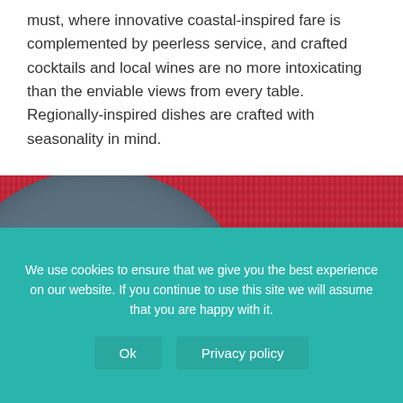must, where innovative coastal-inspired fare is complemented by peerless service, and crafted cocktails and local wines are no more intoxicating than the enviable views from every table. Regionally-inspired dishes are crafted with seasonality in mind.
[Figure (photo): A gray ceramic plate on a red/pink woven placemat, with what appears to be flatbread or crepes on the plate]
We use cookies to ensure that we give you the best experience on our website. If you continue to use this site we will assume that you are happy with it.